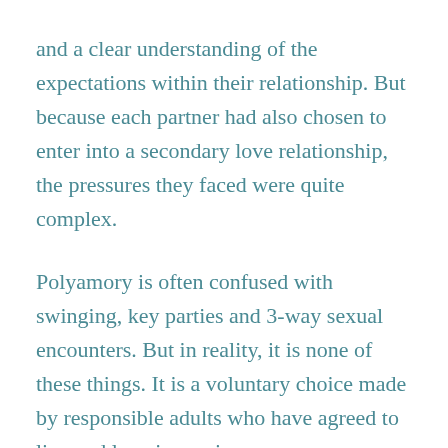and a clear understanding of the expectations within their relationship. But because each partner had also chosen to enter into a secondary love relationship, the pressures they faced were quite complex.
Polyamory is often confused with swinging, key parties and 3-way sexual encounters. But in reality, it is none of these things. It is a voluntary choice made by responsible adults who have agreed to live and love in a unique way.
Couples who embrace polyamory are not simply opening the door to casual sex with others. In fact, polyamory is not solely about sex. In the purest